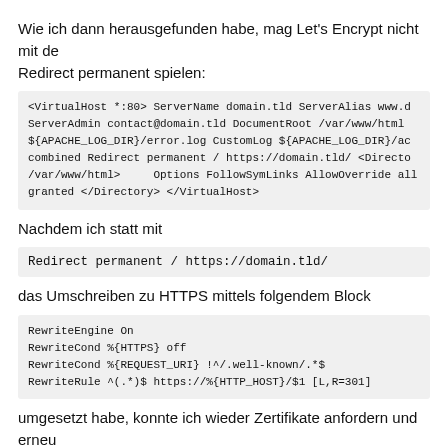Wie ich dann herausgefunden habe, mag Let's Encrypt nicht mit de Redirect permanent spielen:
[Figure (screenshot): Code block showing Apache VirtualHost configuration with ServerName, ServerAlias, ServerAdmin, DocumentRoot, error log, CustomLog, Redirect permanent, Directory, Options FollowSymLinks AllowOverride all, granted, </Directory>, </VirtualHost>]
Nachdem ich statt mit
[Figure (screenshot): Inline code block: Redirect permanent / https://domain.tld/]
das Umschreiben zu HTTPS mittels folgendem Block
[Figure (screenshot): Code block with: RewriteEngine On, RewriteCond %{HTTPS} off, RewriteCond %{REQUEST_URI} !^/.well-known/.*$, RewriteRule ^(.*)$ https://%{HTTP_HOST}/$1 [L,R=301]]
umgesetzt habe, konnte ich wieder Zertifikate anfordern und erneu